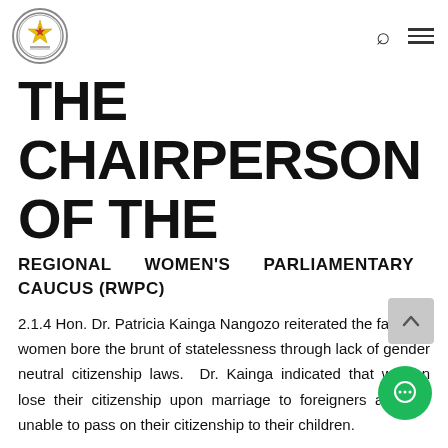Parliament of Zimbabwe logo, search icon, menu icon
THE CHAIRPERSON OF THE
REGIONAL WOMEN'S PARLIAMENTARY CAUCUS (RWPC)
2.1.4 Hon. Dr. Patricia Kainga Nangozo reiterated the fact that women bore the brunt of statelessness through lack of gender neutral citizenship laws. Dr. Kainga indicated that women lose their citizenship upon marriage to foreigners and are unable to pass on their citizenship to their children.
2.1.5 The Plenary Assembly was informed that is incontrovertible evidence that when women are in charge